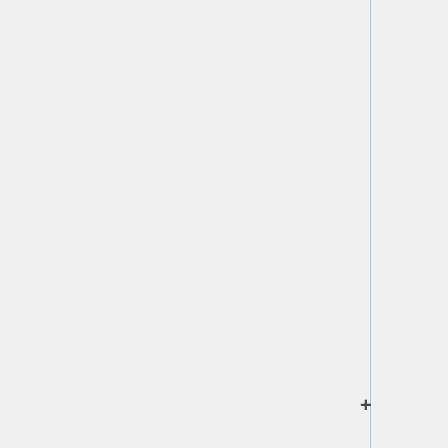relationship to another resource. When rel is used inside a anchor tag, it is specifying that the document at the URL in the href attribute is of a particular relationship to the work. In this case that relationship is the Dublin Core "Type" attribute, and the href is the DC Text specification. Another document Type that would b...